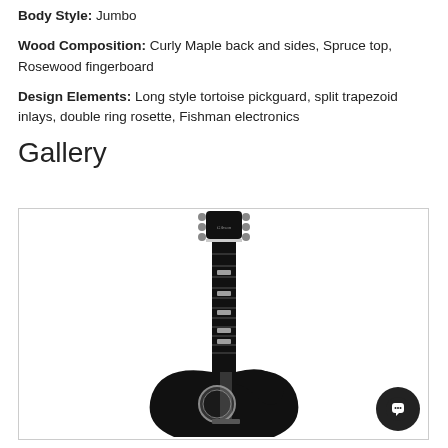Body Style: Jumbo
Wood Composition: Curly Maple back and sides, Spruce top, Rosewood fingerboard
Design Elements: Long style tortoise pickguard, split trapezoid inlays, double ring rosette, Fishman electronics
Gallery
[Figure (photo): Black Gibson acoustic-electric guitar (jumbo body style) shown from headstock to body, displayed against white background inside a gallery frame with a chat button overlay in the bottom right corner.]